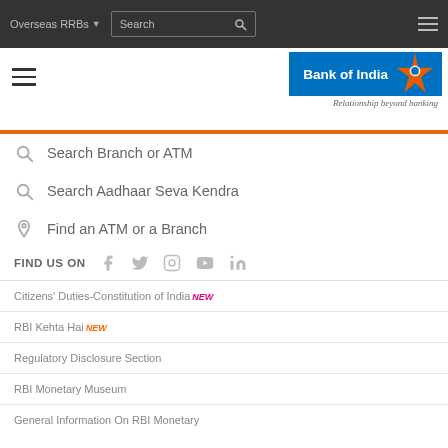Overseas RRBs | Search
[Figure (logo): Bank of India logo with blue background, star symbol, and tagline 'Relationship beyond banking']
Search Branch or ATM
Search Aadhaar Seva Kendra
Find an ATM or a Branch
FIND US ON [Facebook, Twitter, Instagram, YouTube, LinkedIn icons]
Citizens' Duties-Constitution of India NEW
RBI Kehta Hai NEW
Regulatory Disclosure Section
RBI Monetary Museum
General Information On RBI Monetary